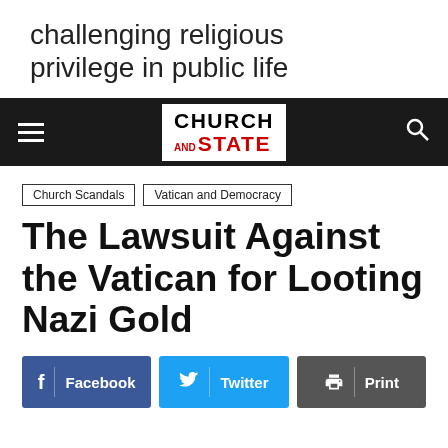challenging religious privilege in public life
[Figure (logo): Church and State logo on dark navigation bar with hamburger menu and search icon]
Church Scandals
Vatican and Democracy
The Lawsuit Against the Vatican for Looting Nazi Gold
[Figure (infographic): Social share buttons: Facebook (blue), Twitter (light blue), Print (dark gray)]